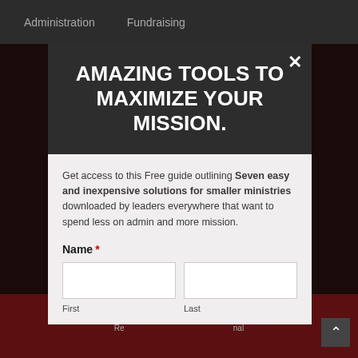Administration   Fundraising
AMAZING TOOLS TO MAXIMIZE YOUR MISSION.
Get access to this Free guide outlining Seven easy and inexpensive solutions for smaller ministries downloaded by leaders everywhere that want to spend less on admin and more mission.
Name *
First   Last
© ... ed.
Re... nal